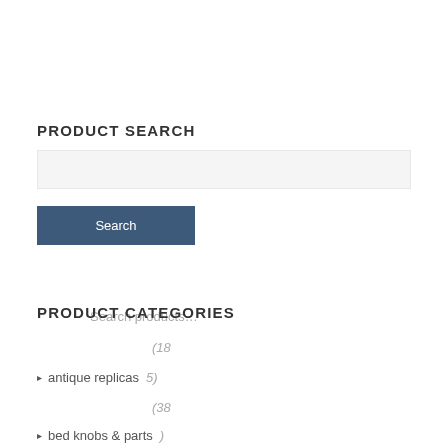PRODUCT SEARCH
Search products…
Search
PRODUCT CATEGORIES
(18
▸ antique replicas (5)
(38
▸ bed knobs & parts )